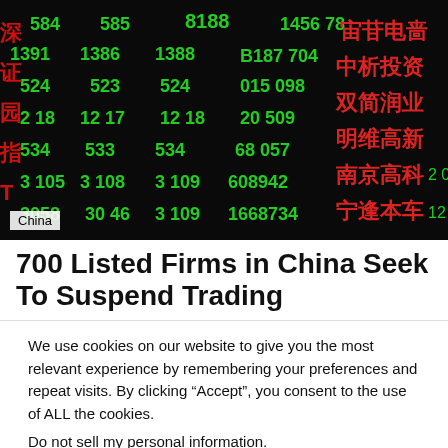[Figure (photo): A Chinese stock market trading board displaying red and green numbers and Chinese characters, showing various stock tickers and prices.]
China
700 Listed Firms in China Seek To Suspend Trading
We use cookies on our website to give you the most relevant experience by remembering your preferences and repeat visits. By clicking “Accept”, you consent to the use of ALL the cookies.
Do not sell my personal information.
Cookie Settings   Accept